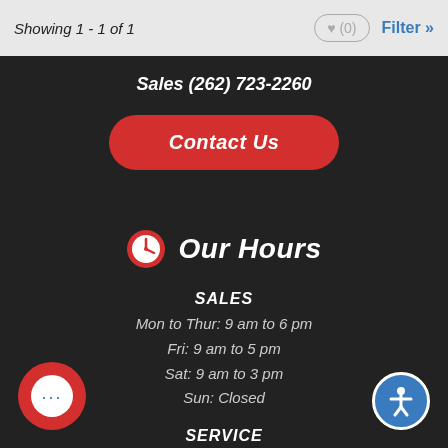Showing 1 - 1 of 1
♥ (0)
Filter »
Sales (262) 723-2260
Contact Us
Our Hours
SALES
Mon to Thur: 9 am to 6 pm
Fri: 9 am to 5 pm
Sat: 9 am to 3 pm
Sun: Closed
SERVICE